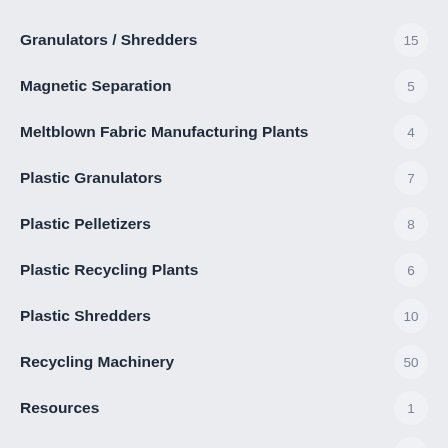Granulators / Shredders — 15
Magnetic Separation — 5
Meltblown Fabric Manufacturing Plants — 4
Plastic Granulators — 7
Plastic Pelletizers — 8
Plastic Recycling Plants — 6
Plastic Shredders — 10
Recycling Machinery — 50
Resources — 1
Screen Separation — 2
Separation Technonlogies — 16